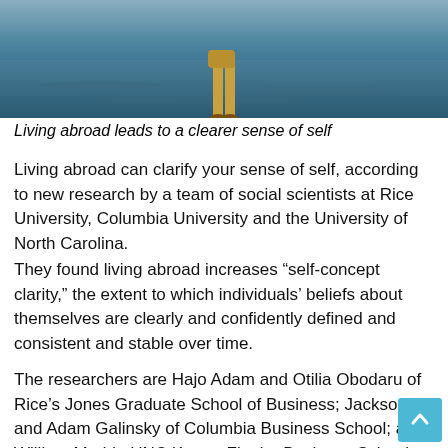[Figure (photo): Person standing outdoors near water, wearing yellow/tan clothing, with water and horizon visible in background. Only lower body/legs visible at top of image crop.]
Living abroad leads to a clearer sense of self
Living abroad can clarify your sense of self, according to new research by a team of social scientists at Rice University, Columbia University and the University of North Carolina.
They found living abroad increases “self-concept clarity,” the extent to which individuals’ beliefs about themselves are clearly and confidently defined and consistent and stable over time.
The researchers are Hajo Adam and Otilia Obodaru of Rice’s Jones Graduate School of Business; Jackson Lu and Adam Galinsky of Columbia Business School; and William Maddu UNC Kenan-Flagler Business School. They conducted six